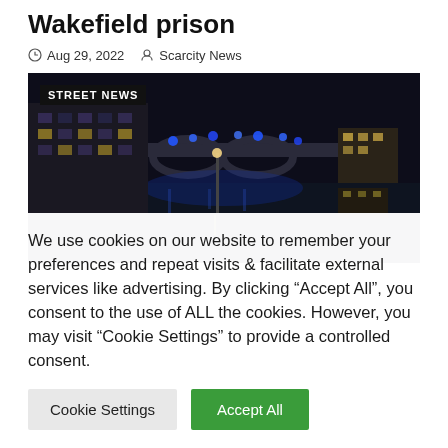Wakefield prison
Aug 29, 2022  Scarcity News
[Figure (photo): Night-time photo of a river and bridge scene with blue police lights on the bridge, a multi-story building on the left with lit windows, and reflections on the water. A badge reading 'STREET NEWS' appears in the top left.]
We use cookies on our website to remember your preferences and repeat visits & facilitate external services like advertising. By clicking “Accept All”, you consent to the use of ALL the cookies. However, you may visit "Cookie Settings" to provide a controlled consent.